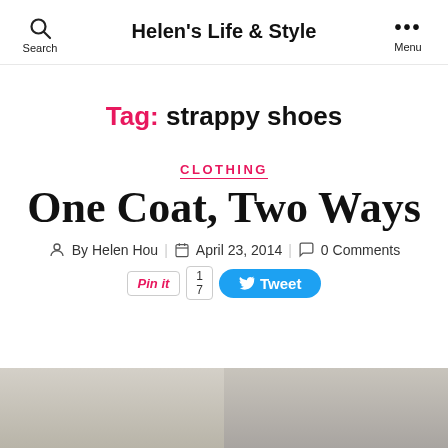Helen's Life & Style
Tag: strappy shoes
CLOTHING
One Coat, Two Ways
By Helen Hou  April 23, 2014  0 Comments
Pin it 1 7  Tweet
[Figure (photo): Two side-by-side photos showing women wearing coats, partially visible at bottom of page]